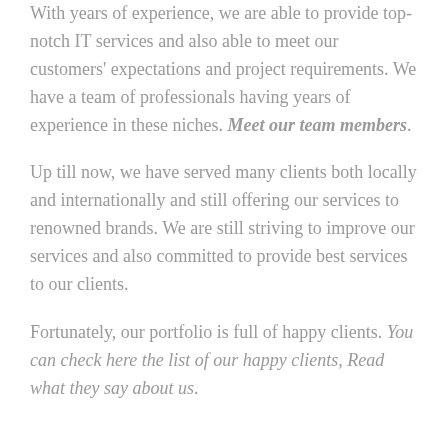With years of experience, we are able to provide top-notch IT services and also able to meet our customers' expectations and project requirements. We have a team of professionals having years of experience in these niches. Meet our team members.
Up till now, we have served many clients both locally and internationally and still offering our services to renowned brands. We are still striving to improve our services and also committed to provide best services to our clients.
Fortunately, our portfolio is full of happy clients. You can check here the list of our happy clients, Read what they say about us.